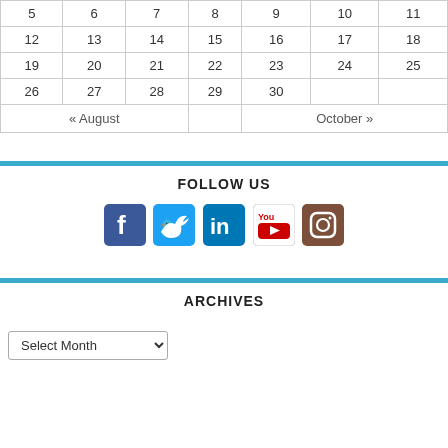| 5 | 6 | 7 | 8 | 9 | 10 | 11 |
| 12 | 13 | 14 | 15 | 16 | 17 | 18 |
| 19 | 20 | 21 | 22 | 23 | 24 | 25 |
| 26 | 27 | 28 | 29 | 30 |  |  |
« August    October »
FOLLOW US
[Figure (illustration): Social media icons: Facebook, Twitter, LinkedIn, YouTube, Instagram]
ARCHIVES
Select Month (dropdown)